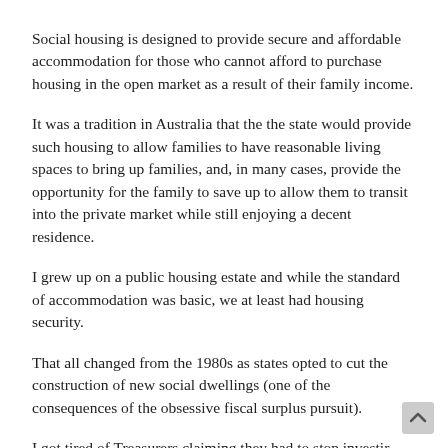Social housing is designed to provide secure and affordable accommodation for those who cannot afford to purchase housing in the open market as a result of their family income.
It was a tradition in Australia that the the state would provide such housing to allow families to have reasonable living spaces to bring up families, and, in many cases, provide the opportunity for the family to save up to allow them to transit into the private market while still enjoying a decent residence.
I grew up on a public housing estate and while the standard of accommodation was basic, we at least had housing security.
That all changed from the 1980s as states opted to cut the construction of new social dwellings (one of the consequences of the obsessive fiscal surplus pursuit).
I got tired of Treasurers claiming they had to stop investing in housing to cut borrowing so they could preserve the AAA-